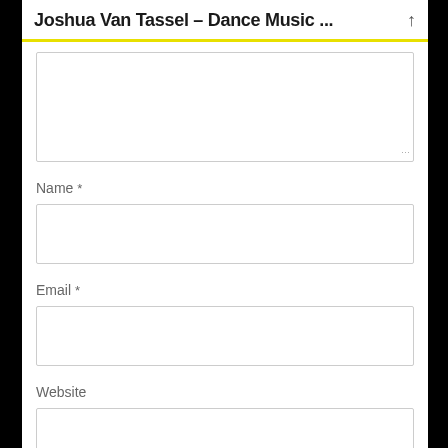Joshua Van Tassel – Dance Music ...
[Figure (screenshot): A comment/contact form with a textarea (partially visible at top), followed by Name, Email, and Website input fields, each with a label and an empty input box. The page header shows 'Joshua Van Tassel – Dance Music ...' with an up-arrow icon. A yellow horizontal line separates the header from the form content.]